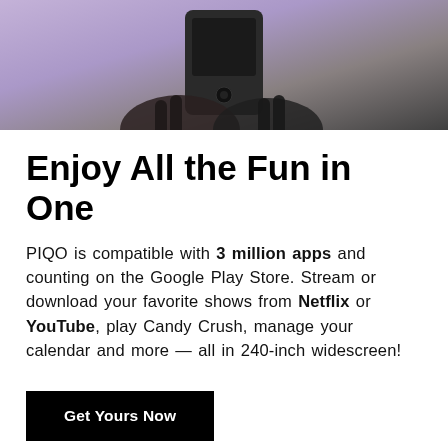[Figure (photo): Person holding a small projector device against a purple/grey background, cropped to show hands and device at top of page]
Enjoy All the Fun in One
PIQO is compatible with 3 million apps and counting on the Google Play Store. Stream or download your favorite shows from Netflix or YouTube, play Candy Crush, manage your calendar and more — all in 240-inch widescreen!
Get Yours Now